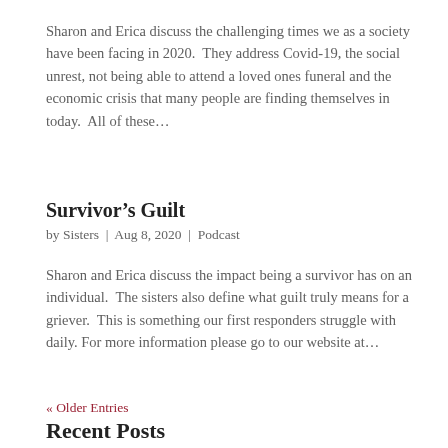Sharon and Erica discuss the challenging times we as a society have been facing in 2020.  They address Covid-19, the social unrest, not being able to attend a loved ones funeral and the economic crisis that many people are finding themselves in today.  All of these…
Survivor’s Guilt
by Sisters  |  Aug 8, 2020  |  Podcast
Sharon and Erica discuss the impact being a survivor has on an individual.  The sisters also define what guilt truly means for a griever.  This is something our first responders struggle with daily. For more information please go to our website at…
« Older Entries
Recent Posts